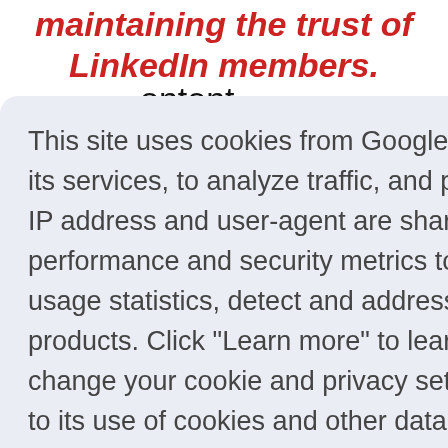maintaining the trust of LinkedIn members.
They say they are trying to keep the content
This site uses cookies from Google and other 3rd party sites to deliver its services, to analyze traffic, and potentially to personalize ads. Your IP address and user-agent are shared with Google along with performance and security metrics to ensure quality of service, generate usage statistics, detect and address abuse, and to improve Google products. Click "Learn more" to learn how your data is used, and change your cookie and privacy settings. By using this site, you agree to its use of cookies and other data.
Learn more
Got it!
can be called into action to respond to a